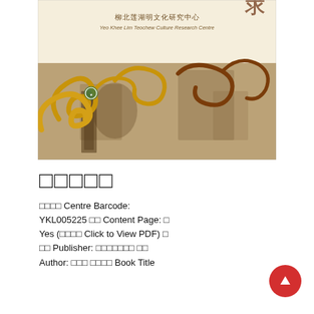[Figure (illustration): Book cover of a Teochew culture publication by Yeo Khee Lim Teochew Culture Research Centre. Shows decorative golden and brown cloud/wave motifs over sepia-toned historical photographs. Chinese characters and English text at top: 柳北莲湖明文化研究中心 / Yeo Khee Lim Teochew Culture Research Centre.]
□□□□□
□□□□ Centre Barcode: YKL005225 □□ Content Page: □ Yes (□□□□ Click to View PDF) □ □□ Publisher: □□□□□□□ □□ Author: □□□ □□□□ Book Title